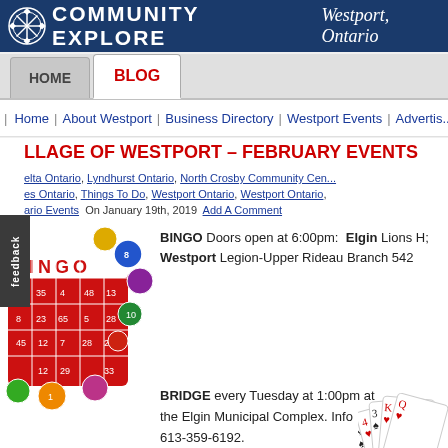COMMUNITY EXPLORE Westport, Ontario
HOME | BLOG
Home | About Westport | Business Directory | Westport Events | Advertis...
LLAGE OF WESTPORT – FEBRUARY EVENTS
delta Ontario, Lyndhurst Ontario, North Crosby Community Ce... es Ontario, Things To Do, Westport Ontario, Westport Ontario, ario Events  On January 19th, 2019  Add A Comment
BINGO Doors open at 6:00pm: Elgin Lions H; Westport Legion-Upper Rideau Branch 542
[Figure (illustration): Bingo card with colorful bingo balls]
BRIDGE every Tuesday at 1:00pm at the Elgin Municipal Complex. Info 613-359-6192.
[Figure (illustration): Playing cards fanned out showing hearts and spades]